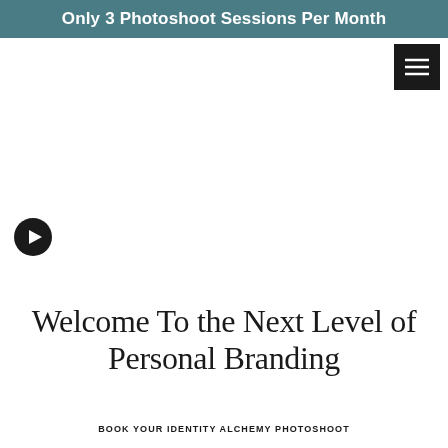Only 3 Photoshoot Sessions Per Month
[Figure (other): Hamburger menu button icon (three horizontal bars) on black square background, positioned top right]
[Figure (other): Play button icon - dark circle with white triangle pointing right, positioned left side middle area]
Welcome To the Next Level of Personal Branding
BOOK YOUR IDENTITY ALCHEMY PHOTOSHOOT